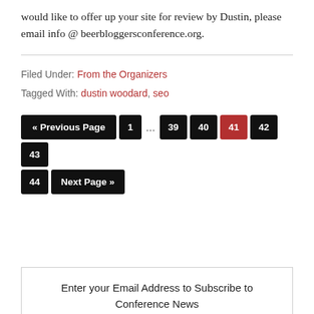would like to offer up your site for review by Dustin, please email info @ beerbloggersconference.org.
Filed Under: From the Organizers
Tagged With: dustin woodard, seo
« Previous Page  1 … 39 40 41 42 43 44  Next Page »
Enter your Email Address to Subscribe to Conference News